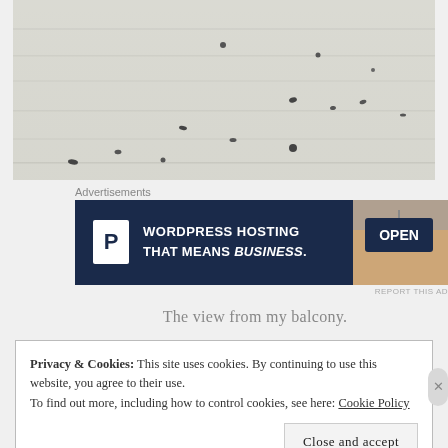[Figure (photo): Snowy or light-colored wooden floor/surface with scattered dark marks or debris, viewed from above (balcony view)]
Advertisements
[Figure (other): WordPress Hosting advertisement banner: dark navy background with 'P' logo and text 'WORDPRESS HOSTING THAT MEANS BUSINESS.' alongside a photo of an OPEN sign being held]
REPORT THIS AD
The view from my balcony.
Privacy & Cookies: This site uses cookies. By continuing to use this website, you agree to their use.
To find out more, including how to control cookies, see here: Cookie Policy
Close and accept